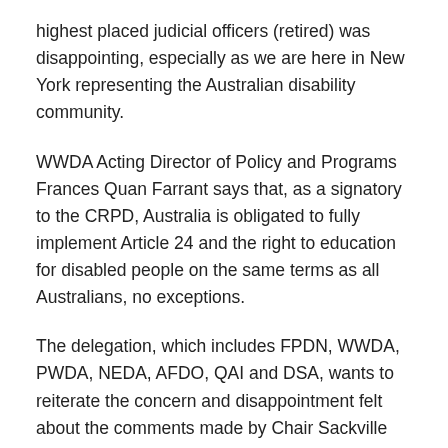highest placed judicial officers (retired) was disappointing, especially as we are here in New York representing the Australian disability community.
WWDA Acting Director of Policy and Programs Frances Quan Farrant says that, as a signatory to the CRPD, Australia is obligated to fully implement Article 24 and the right to education for disabled people on the same terms as all Australians, no exceptions.
The delegation, which includes FPDN, WWDA, PWDA, NEDA, AFDO, QAI and DSA, wants to reiterate the concern and disappointment felt about the comments made by Chair Sackville